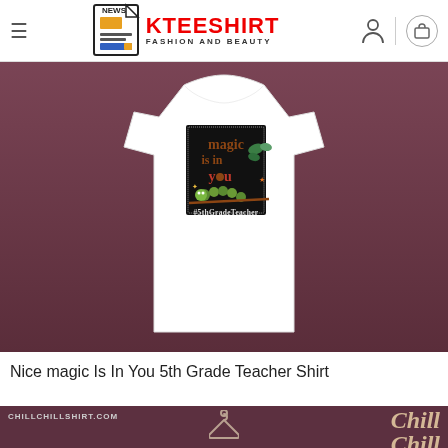KTEESHIRT FASHION AND BEAUTY
[Figure (photo): White t-shirt displayed on a dark reddish-brown wooden background. The shirt features a graphic design with text 'magic is in you' and '#5thGradeTeacher' with caterpillar and butterfly illustrations.]
Nice magic Is In You 5th Grade Teacher Shirt
[Figure (screenshot): Bottom banner showing chillchillshirt.com website with Chill Chill branding and a hanger icon.]